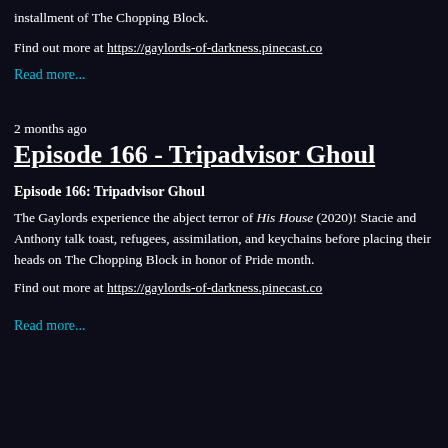installment of The Chopping Block.
Find out more at https://gaylords-of-darkness.pinecast.co
Read more...
2 months ago
Episode 166 - Tripadvisor Ghoul
Episode 166: Tripadvisor Ghoul
The Gaylords experience the abject terror of His House (2020)! Stacie and Anthony talk toast, refugees, assimilation, and keychains before placing their heads on The Chopping Block in honor of Pride month.
Find out more at https://gaylords-of-darkness.pinecast.co
Read more...